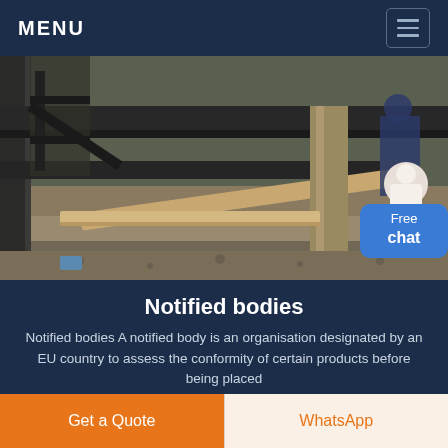MENU
[Figure (photo): Industrial construction site showing metal structural framework and scaffolding with wooden beams and workers in background]
Notified bodies
Notified bodies A notified body is an organisation designated by an EU country to assess the conformity of certain products before being placed